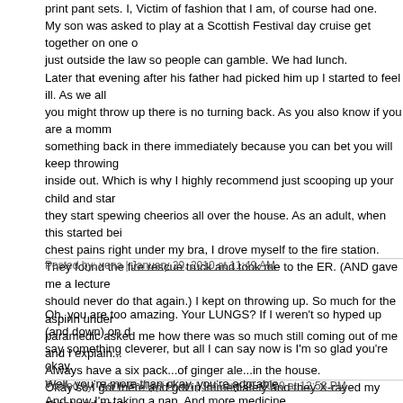print pant sets. I, Victim of fashion that I am, of course had one. My son was asked to play at a Scottish Festival day cruise get together on one of those boats that are just outside the law so people can gamble. We had lunch. Later that evening after his father had picked him up I started to feel ill. As we all know, once you might throw up there is no turning back. As you also know if you are a mom, you do not want something back in there immediately because you can bet you will keep throwing up until you are inside out. Which is why I highly recommend just scooping up your child and starting the bath before they start spewing cheerios all over the house. As an adult, when this started being accompanied by chest pains right under my bra, I drove myself to the fire station. They found the fire rescue truck and took me to the ER. (AND gave me a lecture about how I should never do that again.) I kept on throwing up. So much for the aspirin under the tongue. The paramedic asked me how there was so much still coming out of me and I explained... Always have a six pack...of ginger ale...in the house. Okay so I got there and got in immediately and they X-rayed my chest and gave me IV stuff and things calmed down. Next morning a new young black male nurse came to ask me something so he could go home. When he came back in and saw my floral print pant set he said ".." and his eyes got wide and he said "Those are pajamas, right?". Heal better soon Kathy!
Posted by: xena | January 29, 2010 at 11:49 AM
Oh, you are too amazing. Your LUNGS? If I weren't so hyped up (and down) on drugs I could say something cleverer, but all I can say now is I'm so glad you're okay. Well, you're more than okay, you're adorable. And now I'm taking a nap. And more medicine. (Did Nancy say her skirt came OFF? Yikes.)
Posted by: Hank Phillippi Ryan | January 29, 2010 at 12:58 PM